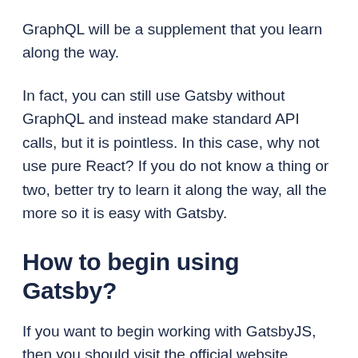GraphQL will be a supplement that you learn along the way.
In fact, you can still use Gatsby without GraphQL and instead make standard API calls, but it is pointless. In this case, why not use pure React? If you do not know a thing or two, better try to learn it along the way, all the more so it is easy with Gatsby.
How to begin using Gatsby?
If you want to begin working with GatsbyJS, then you should visit the official website gatsbyjs.org and seek the documents and manuals there.